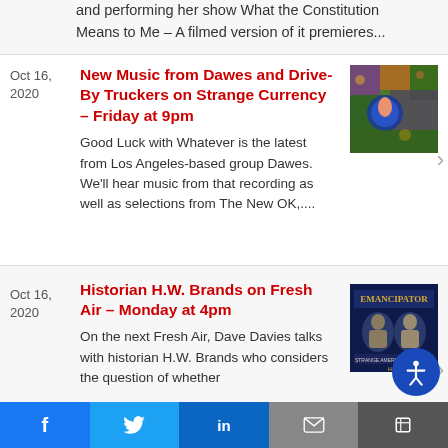and performing her show What the Constitution Means to Me – A filmed version of it premieres...
Oct 16, 2020
New Music from Dawes and Drive-By Truckers on Strange Currency – Friday at 9pm
Good Luck with Whatever is the latest from Los Angeles-based group Dawes. We'll hear music from that recording as well as selections from The New OK,...
[Figure (photo): Colorful crowd/concert image with blue circular graphic element]
Oct 16, 2020
Historian H.W. Brands on Fresh Air – Monday at 4pm
On the next Fresh Air, Dave Davies talks with historian H.W. Brands who considers the question of whether
[Figure (photo): Book cover: Emancipator by H.W. Brands, showing two historical portraits on dark blue background]